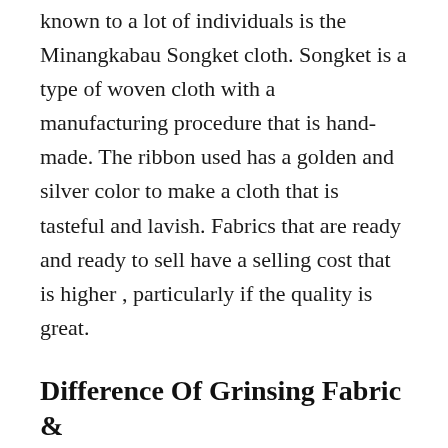known to a lot of individuals is the Minangkabau Songket cloth. Songket is a type of woven cloth with a manufacturing procedure that is hand-made. The ribbon used has a golden and silver color to make a cloth that is tasteful and lavish. Fabrics that are ready and ready to sell have a selling cost that is higher , particularly if the quality is great.
Difference Of Grinsing Fabric & Fabric Songket Traditional Original
The next feature woven fabric from Indonesia is known as Grinsing cloth as it's a woven fabric made with a dual ikat technique. The practice of